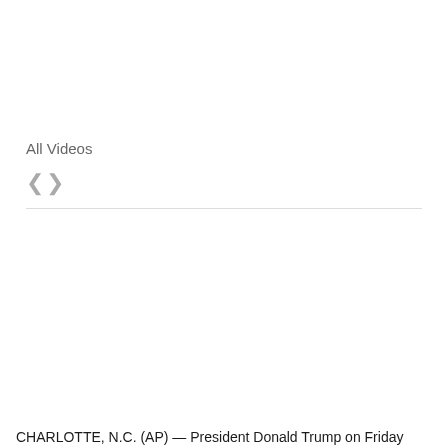All Videos
〈 〉
CHARLOTTE, N.C. (AP) — President Donald Trump on Friday